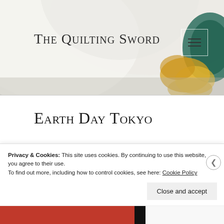The Quilting Sword
Earth Day Tokyo
[Figure (photo): Photo of a rustic wooden arch made of branches and twigs with an 'Earth Day Tokyo' sign hanging from it, surrounded by green trees against a bright sky.]
Privacy & Cookies: This site uses cookies. By continuing to use this website, you agree to their use.
To find out more, including how to control cookies, see here: Cookie Policy
Close and accept